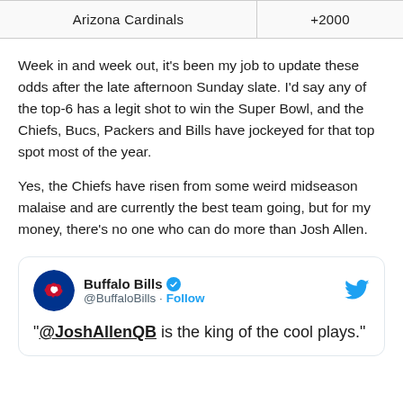| Arizona Cardinals | +2000 |
| --- | --- |
Week in and week out, it's been my job to update these odds after the late afternoon Sunday slate. I'd say any of the top-6 has a legit shot to win the Super Bowl, and the Chiefs, Bucs, Packers and Bills have jockeyed for that top spot most of the year.
Yes, the Chiefs have risen from some weird midseason malaise and are currently the best team going, but for my money, there's no one who can do more than Josh Allen.
[Figure (screenshot): Embedded tweet from @BuffaloBills with text: '@JoshAllenQB is the king of the cool plays.' with Follow button and Twitter bird icon]